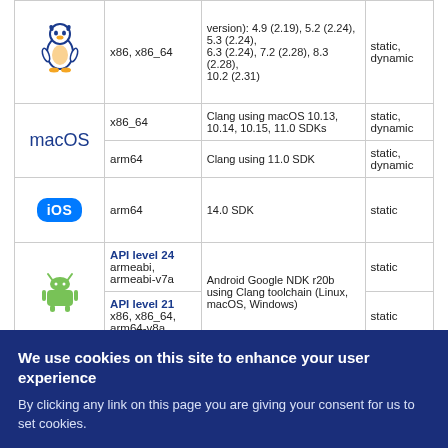| OS | API/Version | Architecture | Toolchain | Link type |
| --- | --- | --- | --- | --- |
| [Linux logo] | x86, x86_64 | (GCC version): 4.9 (2.19), 5.2 (2.24), 5.3 (2.24), 6.3 (2.24), 7.2 (2.28), 8.3 (2.28), 10.2 (2.31) | static, dynamic |
| macOS | x86_64 | Clang using macOS 10.13, 10.14, 10.15, 11.0 SDKs | static, dynamic |
| macOS | arm64 | Clang using 11.0 SDK | static, dynamic |
| iOS | arm64 | 14.0 SDK | static |
| [Android logo] | API level 24 / armeabi, armeabi-v7a | Android Google NDK r20b using Clang toolchain (Linux, macOS, Windows) | static |
| [Android logo] | API level 21 / x86, x86_64, arm64-v8a | Android Google NDK r20b using Clang toolchain (Linux, macOS, Windows) | static |
We use cookies on this site to enhance your user experience
By clicking any link on this page you are giving your consent for us to set cookies.